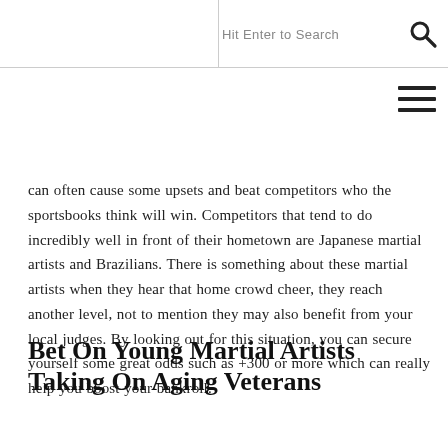Hit Enter to Search
can often cause some upsets and beat competitors who the sportsbooks think will win. Competitors that tend to do incredibly well in front of their hometown are Japanese martial artists and Brazilians. There is something about these martial artists when they hear that home crowd cheer, they reach another level, not to mention they may also benefit from your local judges. By looking out for this situation, you can secure yourself some great odds such as +300 or more which can really help you boost your bankroll.
Bet On Young Martial Artists Taking On Aging Veterans